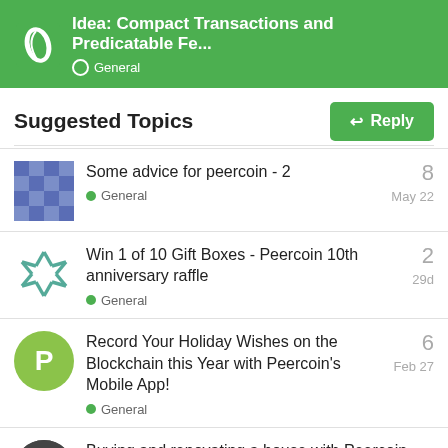Idea: Compact Transactions and Predicatable Fe... — General
Suggested Topics
Some advice for peercoin - 2 · General · May 22 · 8
Win 1 of 10 Gift Boxes - Peercoin 10th anniversary raffle · General · 29d · 2
Record Your Holiday Wishes on the Blockchain this Year with Peercoin's Mobile App! · General · Feb 27 · 6
Buying and renovating a house with Peercoin · 3 / 5